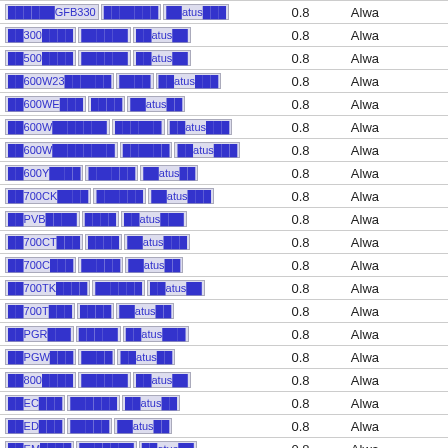| Link | Value | Status |
| --- | --- | --- |
| GFB330|...|...atus|... | 0.8 | Alwa |
| ...300...|...|...atus|... | 0.8 | Alwa |
| ...500...|...|...atus|... | 0.8 | Alwa |
| ...600W23...|...|...atus|... | 0.8 | Alwa |
| ...600WE...|...|...atus|... | 0.8 | Alwa |
| ...600W...|...|...atus|... | 0.8 | Alwa |
| ...600W...|...|...atus|... | 0.8 | Alwa |
| ...600Y...|...|...atus|... | 0.8 | Alwa |
| ...700CK...|...|...atus|... | 0.8 | Alwa |
| ...PVB...|...|...atus|... | 0.8 | Alwa |
| ...700CT...|...|...atus|... | 0.8 | Alwa |
| ...700C...|...|...atus|... | 0.8 | Alwa |
| ...700TK...|...|...atus|... | 0.8 | Alwa |
| ...700T...|...|...atus|... | 0.8 | Alwa |
| ...PGR...|...|...atus|... | 0.8 | Alwa |
| ...PGW...|...|...atus|... | 0.8 | Alwa |
| ...800...|...|...atus|... | 0.8 | Alwa |
| ...EC...|...|...atus|... | 0.8 | Alwa |
| ...ED...|...|...atus|... | 0.8 | Alwa |
| ...EM...|...|...atus|... | 0.8 | Alwa |
| ...PVH...|...|...atus|... | 0.8 | Alwa |
| ...EQ...|...|...atus|... | 0.8 | Alwa |